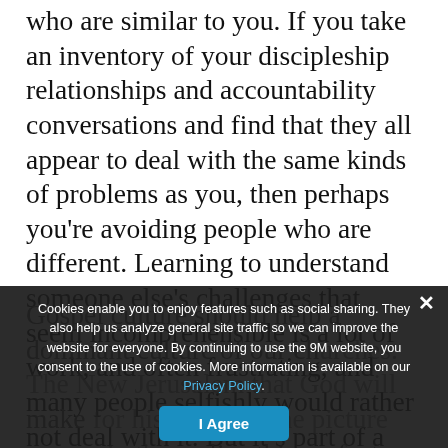who are similar to you. If you take an inventory of your discipleship relationships and accountability conversations and find that they all appear to deal with the same kinds of problems as you, then perhaps you're avoiding people who are different. Learning to understand someone else's challenges that seem incomprehensible is a lot of work, and often frustrating, and many people selfishly would rather not deal with it. But it's part of a gospel outlook and a healthy church.
[Figure (screenshot): Cookie consent overlay dialog on dark semi-transparent background. Contains text: 'Cookies enable you to enjoy features such as social sharing. They also help us analyze general site traffic so we can improve the website for everyone. By continuing to use the 9M website, you consent to the use of cookies. More information is available on our Privacy Policy.' with a blue 'I Agree' button and an X close button.]
Gospel culture should help a dominant culture of our churches. The New Jerusalem that God will make for his people—the picture we see in the realize this perfect vision. In chapter 5 of Revelation, we see every tribe and nation worshiping Christ without cultural barriers or divisions. In fact, these passages tell us that ultimately there is no cultural